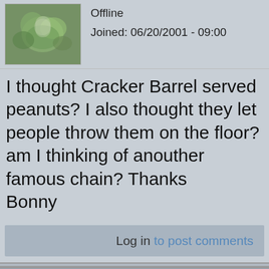Offline
Joined: 06/20/2001 - 09:00
I thought Cracker Barrel served peanuts? I also thought they let people throw them on the floor? am I thinking of anouther famous chain? Thanks
Bonny
Log in to post comments
Posted on: Tue, 03/05/2002 - 1:36am
Chicago
Offline